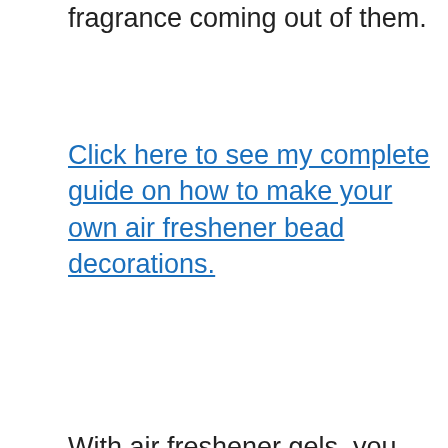fragrance coming out of them.
Click here to see my complete guide on how to make your own air freshener bead decorations.
With air freshener gels, you mix gelatin